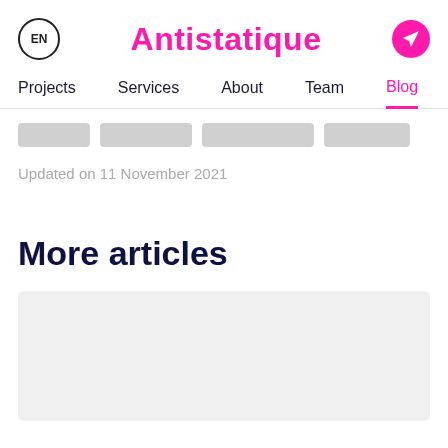EN | Antistatique
Projects  Services  About  Team  Blog
Updated on 11 November 2021
More articles
[Figure (other): Gray placeholder rectangle for an article card]